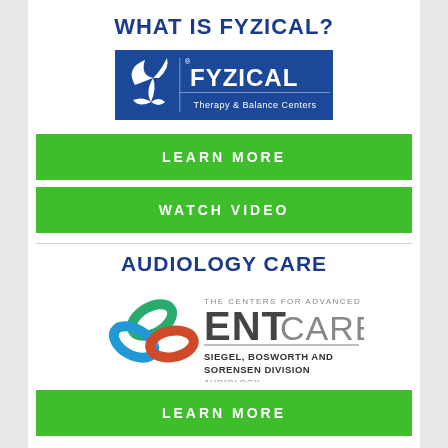WHAT IS FYZICAL?
[Figure (logo): FYZICAL Therapy & Balance Centers logo on dark blue background]
LEARN MORE
WATCH VIDEO
AUDIOLOGY CARE
[Figure (logo): The Centers for Advanced ENT Care - Siegel, Bosworth and Sorensen Division Audiology logo]
LEARN MORE